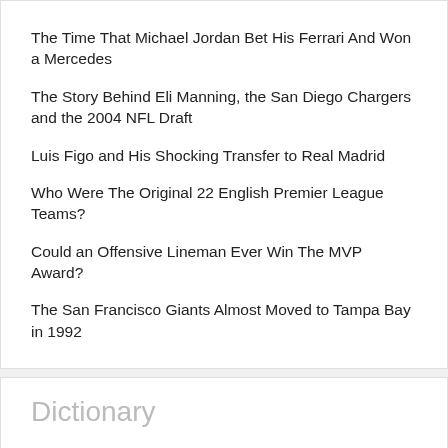The Time That Michael Jordan Bet His Ferrari And Won a Mercedes
The Story Behind Eli Manning, the San Diego Chargers and the 2004 NFL Draft
Luis Figo and His Shocking Transfer to Real Madrid
Who Were The Original 22 English Premier League Teams?
Could an Offensive Lineman Ever Win The MVP Award?
The San Francisco Giants Almost Moved to Tampa Bay in 1992
Dictionary
1st Inning Runs
To Score 2 or More Touchdowns